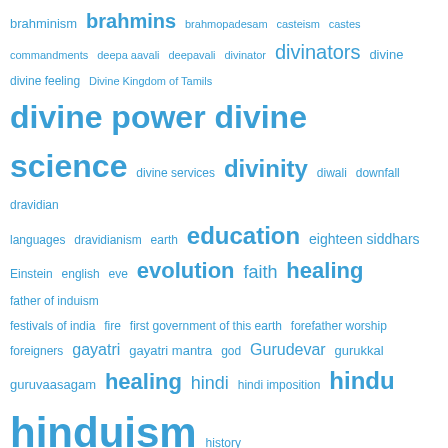[Figure (other): Word cloud on the topic of Hinduism and Indian religion, with terms in varying font sizes in blue on white background. Larger words include 'hinduism', 'induism', 'Indhuism', 'hindu', 'divine power divine science', 'divinity', 'education', 'healing', 'evolution'. Smaller words include brahminism, brahmins, brahmopadesam, casteism, castes, commandments, deepa aavali, deepavali, divinator, divinators, divine, divine feeling, Divine Kingdom of Tamils, divine services, diwali, downfall, dravidian, languages, dravidianism, earth, eighteen siddhars, Einstein, english, eve, faith, father of induism, festivals of india, fire, first government of this earth, forefather worship, foreigners, gayatri, gayatri mantra, god, Gurudevar, gurukkal, guruvaasagam, hindi, hindi imposition, history, history maintained by pathinensiddhars, history of earth, human origin, human welfare, humanism, ilingam, imf loan, IMI, indhu, indhu religion, indhu renaissance, indhu renaissance movement, indhu vedham, india, india's religion, indu, indu idols, kaayanthiri, kakapusundar, karuwooraar, language, language of god, language]